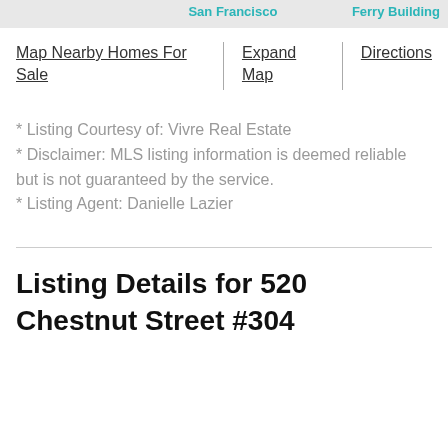[Figure (map): Partial map screenshot showing San Francisco area with Ferry Building label visible]
Map Nearby Homes For Sale
Expand Map
Directions
* Listing Courtesy of: Vivre Real Estate
* Disclaimer: MLS listing information is deemed reliable but is not guaranteed by the service.
* Listing Agent: Danielle Lazier
Listing Details for 520 Chestnut Street #304